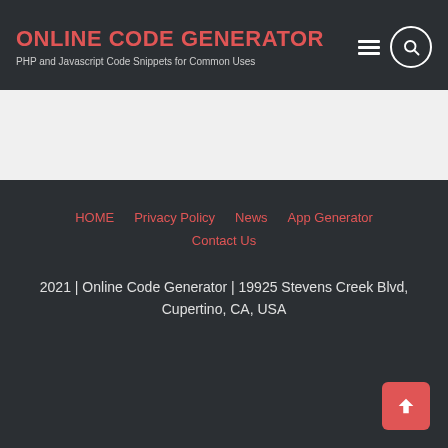ONLINE CODE GENERATOR
PHP and Javascript Code Snippets for Common Uses
HOME | Privacy Policy | News | App Generator | Contact Us
2021 | Online Code Generator | 19925 Stevens Creek Blvd, Cupertino, CA, USA